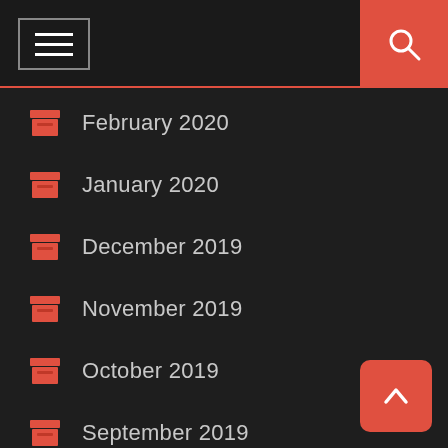Navigation header with menu and search
February 2020
January 2020
December 2019
November 2019
October 2019
September 2019
August 2019
July 2019
June 2019